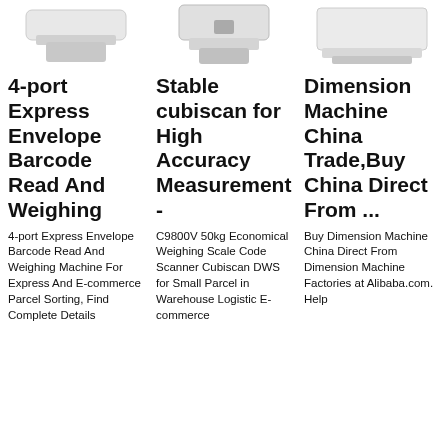[Figure (photo): Partial image of a weighing/scanning machine, white, cropped at top]
[Figure (photo): Partial image of a cubiscan/weighing scale device, white, cropped at top]
[Figure (photo): Partial image of a dimension measurement machine, white rectangular, cropped at top]
4-port Express Envelope Barcode Read And Weighing
Stable cubiscan for High Accuracy Measurement -
Dimension Machine China Trade,Buy China Direct From ...
4-port Express Envelope Barcode Read And Weighing Machine For Express And E-commerce Parcel Sorting, Find Complete Details
C9800V 50kg Economical Weighing Scale Code Scanner Cubiscan DWS for Small Parcel in Warehouse Logistic E-commerce
Buy Dimension Machine China Direct From Dimension Machine Factories at Alibaba.com. Help